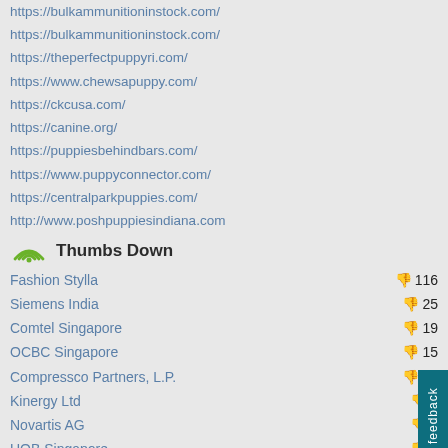https://bulkammunitioninstock.com/
https://bulkammunitioninstock.com/
https://theperfectpuppyri.com/
https://www.chewsapuppy.com/
https://ckcusa.com/
https://canine.org/
https://puppiesbehindbars.com/
https://www.puppyconnector.com/
https://centralparkpuppies.com/
http://www.poshpuppiesindiana.com
Thumbs Down
| Name | Count |
| --- | --- |
| Fashion Stylla | 116 |
| Siemens India | 25 |
| Comtel Singapore | 19 |
| OCBC Singapore | 15 |
| Compressco Partners, L.P. | 15 |
| Kinergy Ltd | 1 |
| Novartis AG | 1 |
| UOB Singapore | 1 |
| TranS1 Inc. | 1 |
| Microsoft Singapore |  |
Hot Sites
www.standardchartered.com
www.bayer.com
www.ernstyoung.com
www.7eleven.com.sg
http://www.taser.com/